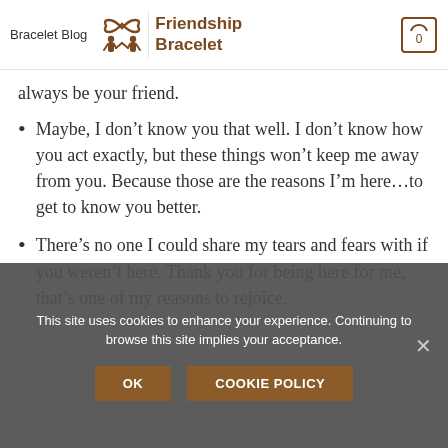Bracelet  Blog  Friendship Bracelet
always be your friend.
Maybe, I don’t know you that well. I don’t know how you act exactly, but these things won’t keep me away from you. Because those are the reasons I’m here…to get to know you better.
There’s no one I could share my tears and fears with if you weren’t here. Thank you for being here for me, that’s one of my reasons to rejoice.
This site uses cookies to enhance your experience. Continuing to browse this site implies your acceptance.